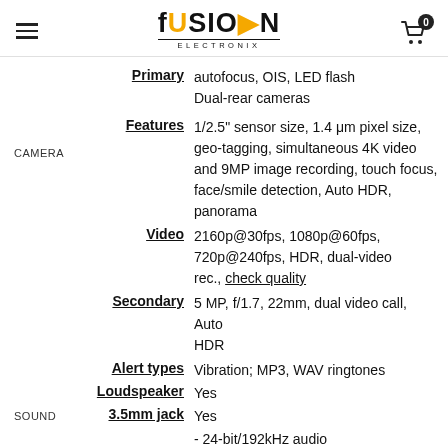Fusion Electronix
Primary: autofocus, OIS, LED flash
Dual-rear cameras
CAMERA
Features: 1/2.5" sensor size, 1.4 μm pixel size, geo-tagging, simultaneous 4K video and 9MP image recording, touch focus, face/smile detection, Auto HDR, panorama
Video: 2160p@30fps, 1080p@60fps, 720p@240fps, HDR, dual-video rec., check quality
Secondary: 5 MP, f/1.7, 22mm, dual video call, Auto HDR
Alert types: Vibration; MP3, WAV ringtones
Loudspeaker: Yes
SOUND
3.5mm jack: Yes
- 24-bit/192kHz audio